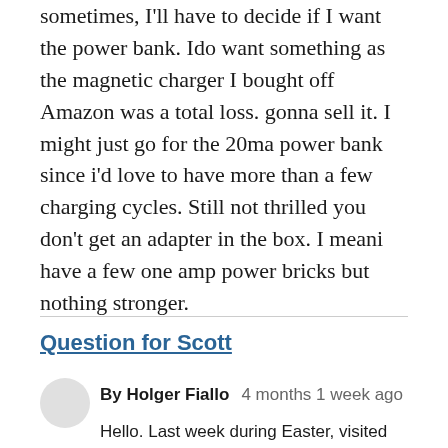sometimes, I'll have to decide if I want the power bank. Ido want something as the magnetic charger I bought off Amazon was a total loss. gonna sell it. I might just go for the 20ma power bank since i'd love to have more than a few charging cycles. Still not thrilled you don't get an adapter in the box. I meani have a few one amp power bricks but nothing stronger.
Question for Scott
By Holger Fiallo   4 months 1 week ago
Hello. Last week during Easter, visited family,